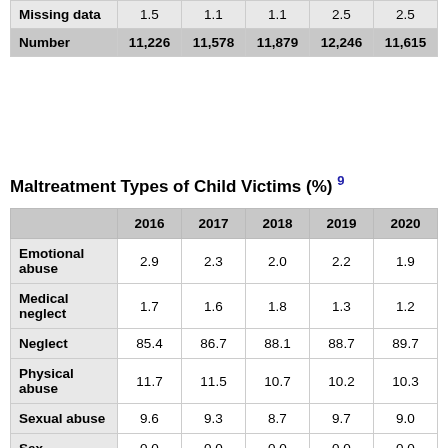|  | 2016 | 2017 | 2018 | 2019 | 2020 |
| --- | --- | --- | --- | --- | --- |
| Missing data | 1.5 | 1.1 | 1.1 | 2.5 | 2.5 |
| Number | 11,226 | 11,578 | 11,879 | 12,246 | 11,615 |
Maltreatment Types of Child Victims (%) 9
|  | 2016 | 2017 | 2018 | 2019 | 2020 |
| --- | --- | --- | --- | --- | --- |
| Emotional abuse | 2.9 | 2.3 | 2.0 | 2.2 | 1.9 |
| Medical neglect | 1.7 | 1.6 | 1.8 | 1.3 | 1.2 |
| Neglect | 85.4 | 86.7 | 88.1 | 88.7 | 89.7 |
| Physical abuse | 11.7 | 11.5 | 10.7 | 10.2 | 10.3 |
| Sexual abuse | 9.6 | 9.3 | 8.7 | 9.7 | 9.0 |
| Sex | 0.0 | 0.0 | 0.0 | 0.0 | 0.0 |